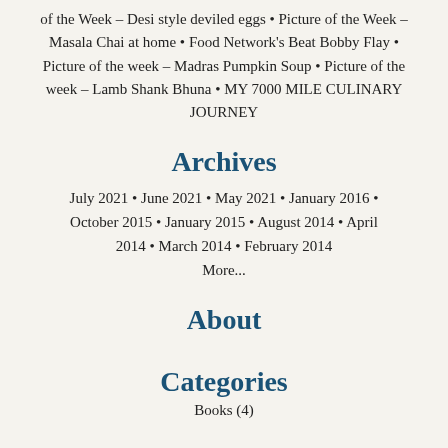of the Week – Desi style deviled eggs • Picture of the Week – Masala Chai at home • Food Network's Beat Bobby Flay • Picture of the week – Madras Pumpkin Soup • Picture of the week – Lamb Shank Bhuna • MY 7000 MILE CULINARY JOURNEY
Archives
July 2021 • June 2021 • May 2021 • January 2016 • October 2015 • January 2015 • August 2014 • April 2014 • March 2014 • February 2014 More...
About
Categories
Books (4)